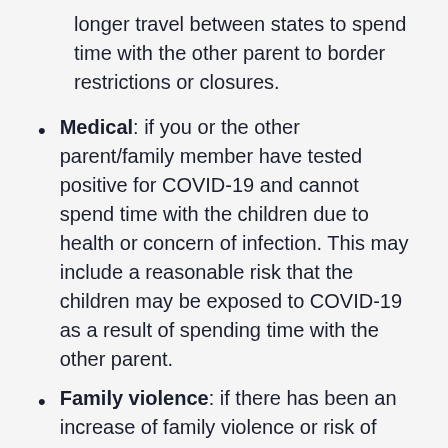longer travel between states to spend time with the other parent to border restrictions or closures.
Medical: if you or the other parent/family member have tested positive for COVID-19 and cannot spend time with the children due to health or concern of infection. This may include a reasonable risk that the children may be exposed to COVID-19 as a result of spending time with the other parent.
Family violence: if there has been an increase of family violence or risk of family violence due to the imposed COVID-19 restrictions.
To support your urgent application, a special